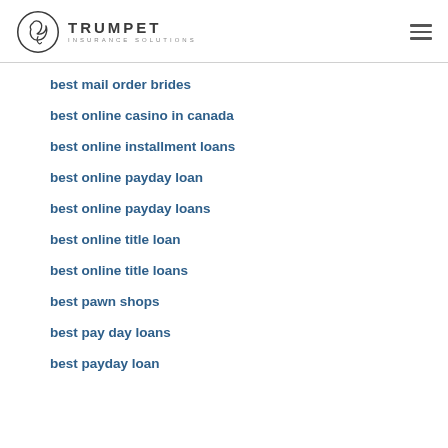TRUMPET INSURANCE SOLUTIONS
best mail order brides
best online casino in canada
best online installment loans
best online payday loan
best online payday loans
best online title loan
best online title loans
best pawn shops
best pay day loans
best payday loan